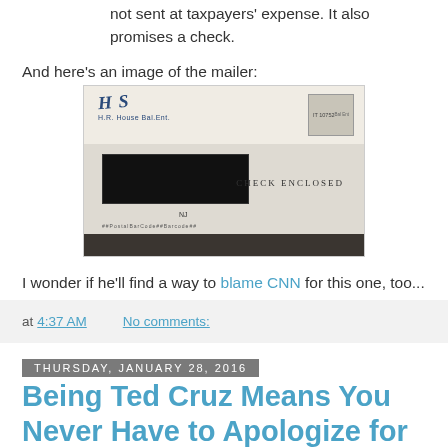not sent at taxpayers' expense. It also promises a check.
And here's an image of the mailer:
[Figure (photo): Photograph of a mailer envelope showing a signature 'HS', a return address, a blacked-out recipient address window, and the text 'CHECK ENCLOSED' on the right side.]
I wonder if he'll find a way to blame CNN for this one, too...
at 4:37 AM    No comments:
Thursday, January 28, 2016
Being Ted Cruz Means You Never Have to Apologize for Lying.
[Figure (photo): Thumbnail image of a video or photo, dark background.]